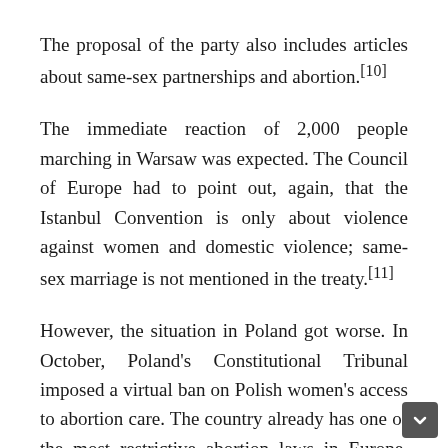The proposal of the party also includes articles about same-sex partnerships and abortion.[10]
The immediate reaction of 2,000 people marching in Warsaw was expected. The Council of Europe had to point out, again, that the Istanbul Convention is only about violence against women and domestic violence; same-sex marriage is not mentioned in the treaty.[11]
However, the situation in Poland got worse. In October, Poland's Constitutional Tribunal imposed a virtual ban on Polish women's access to abortion care. The country already has one of the most restrictive abortion laws in Europe. Tens of thousands of Polish citizens have taken the streets to protest and the government has responded with tear-gas and by arresting people.[12] In November, during the plenary session in the Parliament, the MEP Sylwia Spurek said that the ruling of the Polish constitutional tribunal is putting people's